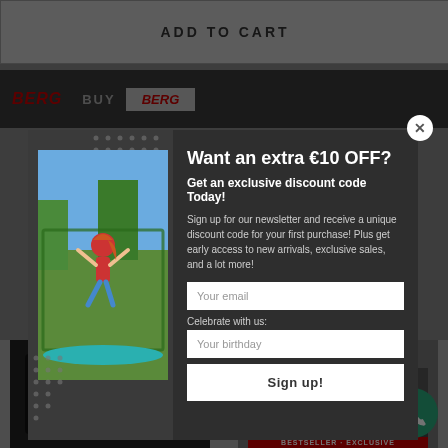ADD TO CART
[Figure (screenshot): BERG brand banner with logo on left, BUY text, and BERG logo in gray box on right]
[Figure (screenshot): Modal popup with newsletter signup offer. Shows girl jumping on trampoline on left side. Right side has title 'Want an extra €10 OFF?', subtitle 'Get an exclusive discount code Today!', body text about newsletter signup, email input field, birthday input field, and Sign up button. Close button in top-right corner.]
Want an extra €10 OFF?
Get an exclusive discount code Today!
Sign up for our newsletter and receive a unique discount code for your first purchase! Plus get early access to new arrivals, exclusive sales, and a lot more!
Your email
Celebrate with us:
Your birthday
Sign up!
[Figure (photo): Two trampoline product images at bottom of page]